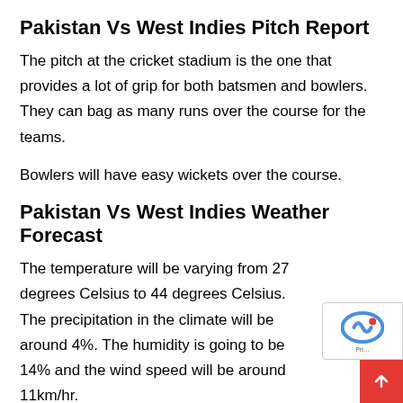Pakistan Vs West Indies Pitch Report
The pitch at the cricket stadium is the one that provides a lot of grip for both batsmen and bowlers. They can bag as many runs over the course for the teams.
Bowlers will have easy wickets over the course.
Pakistan Vs West Indies Weather Forecast
The temperature will be varying from 27 degrees Celsius to 44 degrees Celsius. The precipitation in the climate will be around 4%. The humidity is going to be 14% and the wind speed will be around 11km/hr.
It is going to be mostly sunny for the day and no